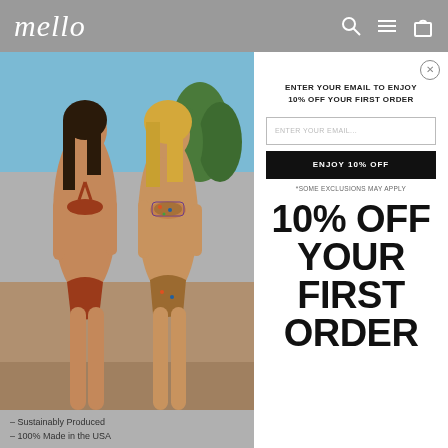mello
[Figure (photo): Two women in bikinis standing outdoors in a sunny, desert-like setting. Left woman wears a solid rust/terracotta bikini, right woman wears a printed/patterned bikini.]
– Sustainably Produced
– 100% Made in the USA
ENTER YOUR EMAIL TO ENJOY 10% OFF YOUR FIRST ORDER
ENTER YOUR EMAIL...
ENJOY 10% OFF
*SOME EXCLUSIONS MAY APPLY
10% OFF YOUR FIRST ORDER